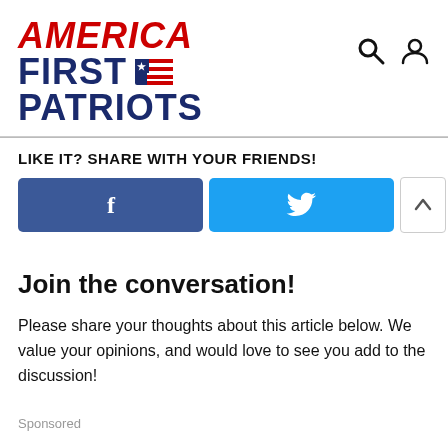[Figure (logo): America First Patriots logo with red italic AMERICA text, dark blue FIRST and PATRIOTS text, and a flag icon]
LIKE IT? SHARE WITH YOUR FRIENDS!
[Figure (screenshot): Social share buttons: Facebook (blue), Twitter (cyan), and two arrow buttons for up/down]
Join the conversation!
Please share your thoughts about this article below. We value your opinions, and would love to see you add to the discussion!
Sponsored